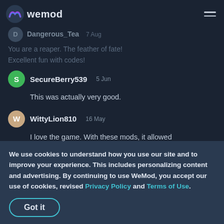wemod
You are a reaper. The feather of fate! Excellent fun with codes!
SecureBerry539  5 Jun
This was actually very good.
WittyLion810  16 May
I love the game. With these mods, it allowed me to collect all the shiny things, get the achievements, everything. Thanks sooooo
BrilliantSquirrel237
...Thanks for this great program. Makes playing the game fun again.
We use cookies to understand how you use our site and to improve your experience. This includes personalizing content and advertising. By continuing to use WeMod, you accept our use of cookies, revised Privacy Policy and Terms of Use.